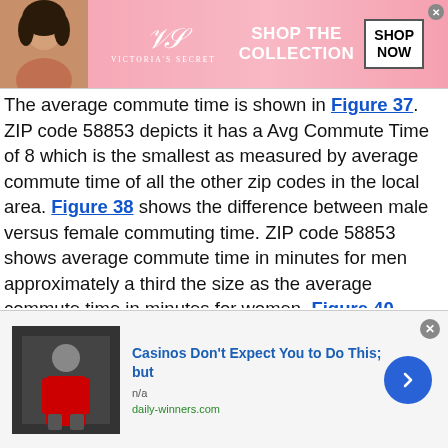[Figure (other): Victoria's Secret advertisement banner with model photo, VS logo, 'SHOP THE COLLECTION' text, and 'SHOP NOW' button]
The average commute time is shown in Figure 37. ZIP code 58853 depicts it has a Avg Commute Time of 8 which is the smallest as measured by average commute time of all the other zip codes in the local area. Figure 38 shows the difference between male versus female commuting time. ZIP code 58853 shows average commute time in minutes for men approximately a third the size as the average commute time in minutes for women. Figure 40 shows the total number of vehicles available for transportation and ZIP code 58853 has one of the largest proportions of no vehicle available at 24% of the total and is ranked #2. The only larger zip code being
[Figure (other): Bottom advertisement: 'Casinos Don't Expect You to Do This; but' with image of person, n/a text, daily-winners.com domain, and arrow button]